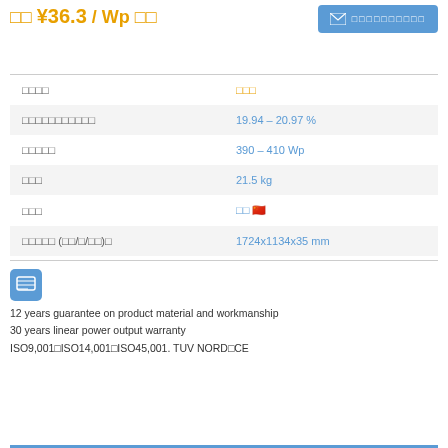□□ ¥36.3 / Wp □□
|  |  |
| --- | --- |
| □□□□ | □□□ |
| □□□□□□□□□□□ | 19.94 – 20.97 % |
| □□□□□ | 390 – 410 Wp |
| □□□ | 21.5 kg |
| □□□ | □□ 🇨🇳 |
| □□□□□ (□□/□/□□)□ | 1724x1134x35 mm |
12 years guarantee on product material and workmanship
30 years linear power output warranty
ISO9,001□ISO14,001□ISO45,001. TUV NORD□CE